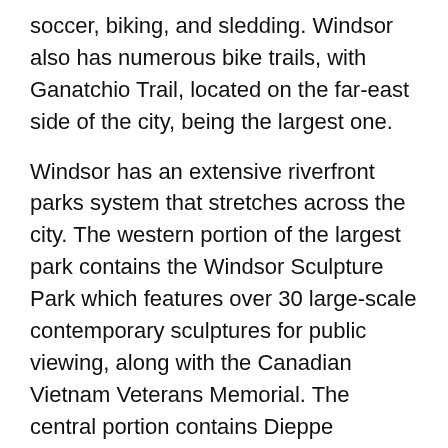soccer, biking, and sledding. Windsor also has numerous bike trails, with Ganatchio Trail, located on the far-east side of the city, being the largest one.
Windsor has an extensive riverfront parks system that stretches across the city. The western portion of the largest park contains the Windsor Sculpture Park which features over 30 large-scale contemporary sculptures for public viewing, along with the Canadian Vietnam Veterans Memorial. The central portion contains Dieppe Gardens, Civic Terrace and Festival Plaza, and the eastern portion is home to the Bert Weeks Memorial Gardens.
Windsor tourist attractions include Caesars Windsor, a lively downtown club scene, Little Italy, the Windsor Symphony Orchestra, the Art Gallery of Windsor, the Odette Sculpture Park, Adventure Bay, Liam Gardens and Others Garden...